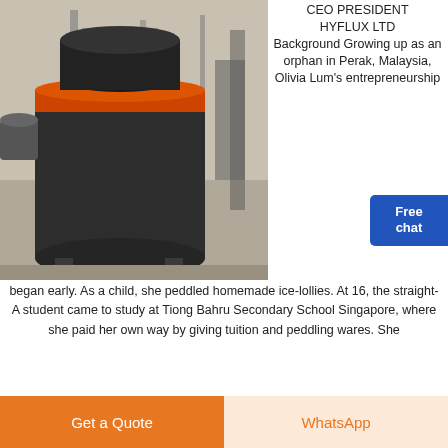[Figure (photo): Industrial grinding/milling machine with orange and black coloring in a factory/warehouse setting]
CEO PRESIDENT HYFLUX LTD Background Growing up as an orphan in Perak, Malaysia, Olivia Lum's entrepreneurship began early. As a child, she peddled homemade ice-lollies. At 16, the straight-A student came to study at Tiong Bahru Secondary School Singapore, where she paid her own way by giving tuition and peddling wares. She
Get Price
[Figure (photo): Interior of an industrial factory building with metal scaffolding, beams and equipment]
308 Permanent Redirect
Create a PDF from any Windows program. Use it like a
Get a Quote
WhatsApp